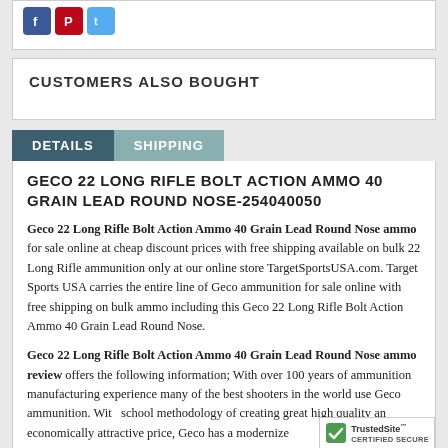[Figure (other): Social media icons: Facebook, Pinterest, Twitter]
CUSTOMERS ALSO BOUGHT
DETAILS | SHIPPING (tabs)
GECO 22 LONG RIFLE BOLT ACTION AMMO 40 GRAIN LEAD ROUND NOSE-254040050
Geco 22 Long Rifle Bolt Action Ammo 40 Grain Lead Round Nose ammo for sale online at cheap discount prices with free shipping available on bulk 22 Long Rifle ammunition only at our online store TargetSportsUSA.com. Target Sports USA carries the entire line of Geco ammunition for sale online with free shipping on bulk ammo including this Geco 22 Long Rifle Bolt Action Ammo 40 Grain Lead Round Nose.
Geco 22 Long Rifle Bolt Action Ammo 40 Grain Lead Round Nose ammo review offers the following information; With over 100 years of ammunition manufacturing experience many of the best shooters in the world use Geco ammunition. With old school methodology of creating great high quality and economically attractive price, Geco has a modernizer...